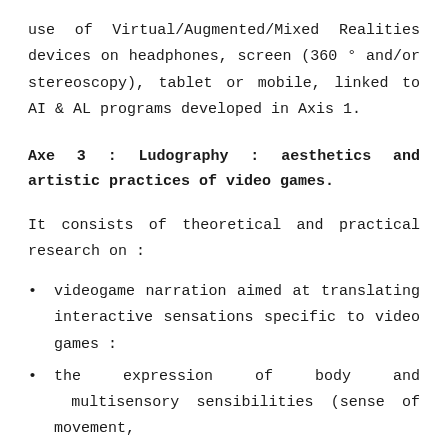use of Virtual/Augmented/Mixed Realities devices on headphones, screen (360 ° and/or stereoscopy), tablet or mobile, linked to AI & AL programs developed in Axis 1.
Axe 3 : Ludography : aesthetics and artistic practices of video games.
It consists of theoretical and practical research on :
videogame narration aimed at translating interactive sensations specific to video games :
the expression of body and multisensory sensibilities (sense of movement,